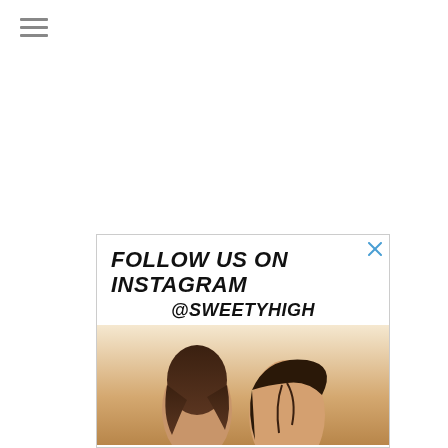[Figure (other): Hamburger menu icon with three horizontal lines]
[Figure (infographic): Advertisement banner: FOLLOW US ON INSTAGRAM @SWEETYHIGH with photo of people below]